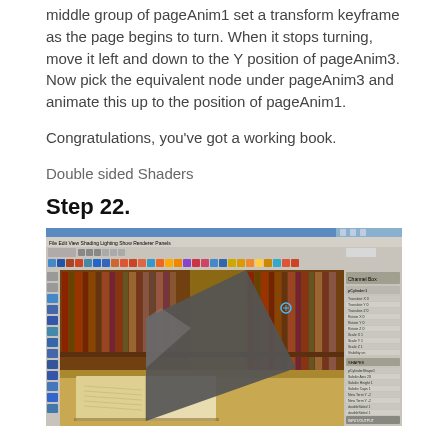middle group of pageAnim1 set a transform keyframe as the page begins to turn. When it stops turning, move it left and down to the Y position of pageAnim3. Now pick the equivalent node under pageAnim3 and animate this up to the position of pageAnim1.
Congratulations, you've got a working book.
Double sided Shaders
Step 22.
[Figure (screenshot): Screenshot of a 3D animation software (likely Maya or similar) showing a book with a page turning animation. The book is open on a wooden surface with library bookshelves in the background. A dark gray page is mid-turn. The interface shows toolbars, menus, and a properties panel on the right side.]